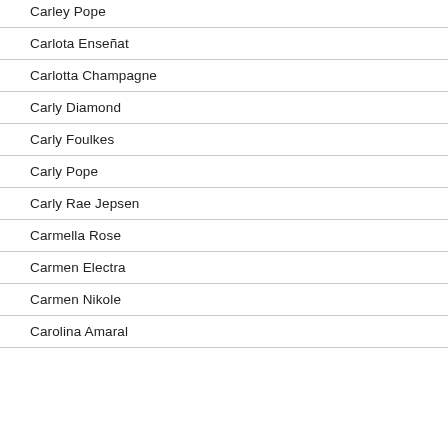Carley Pope
Carlota Enseñat
Carlotta Champagne
Carly Diamond
Carly Foulkes
Carly Pope
Carly Rae Jepsen
Carmella Rose
Carmen Electra
Carmen Nikole
Carolina Amaral